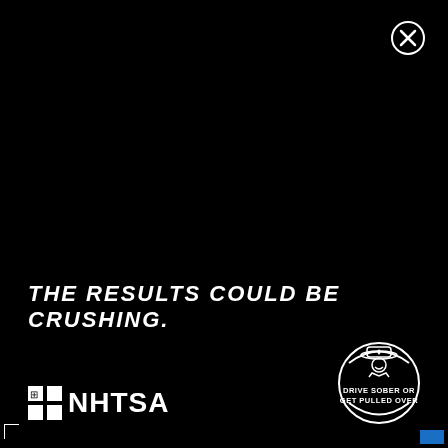[Figure (illustration): Close/dismiss button (circle with X) in top-right corner on black background]
THE RESULTS COULD BE CRUSHING.
[Figure (logo): NHTSA logo with grid icon and NHTSA text in white on black]
[Figure (logo): Drive Sober or Get Pulled Over badge/seal with police officer icon]